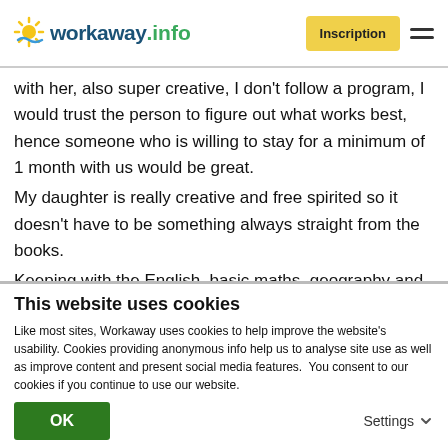workaway.info | Inscription
with her, also super creative, I don't follow a program, I would trust the person to figure out what works best, hence someone who is willing to stay for a minimum of 1 month with us would be great.
My daughter is really creative and free spirited so it doesn't have to be something always straight from the books.
Keeping with the English, basic maths, geography and then either French and/or Spanish.
Any art project is super welcomed!!
This website uses cookies
Like most sites, Workaway uses cookies to help improve the website's usability. Cookies providing anonymous info help us to analyse site use as well as improve content and present social media features.  You consent to our cookies if you continue to use our website.
OK | Settings